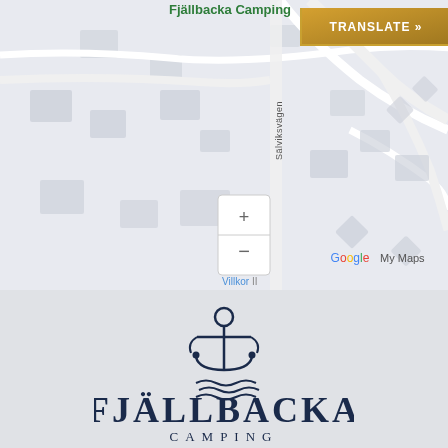[Figure (map): Google My Maps screenshot showing Fjällbacka Camping location with street Sälviksvägen visible, zoom controls (+/-), Villkor label, and Google My Maps branding]
[Figure (logo): Fjällbacka Camping logo: anchor icon with wave lines below, text FJÄLLBACKA in large serif capitals and CAMPING in smaller spaced capitals, dark navy color on light gray background]
TRANSLATE »